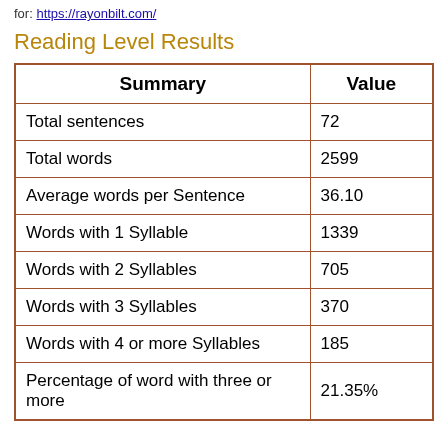for: https://rayonbilt.com/
Reading Level Results
| Summary | Value |
| --- | --- |
| Total sentences | 72 |
| Total words | 2599 |
| Average words per Sentence | 36.10 |
| Words with 1 Syllable | 1339 |
| Words with 2 Syllables | 705 |
| Words with 3 Syllables | 370 |
| Words with 4 or more Syllables | 185 |
| Percentage of word with three or more | 21.35% |